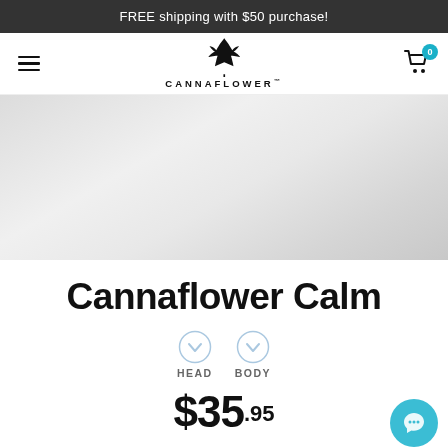FREE shipping with $50 purchase!
[Figure (logo): Cannaflower logo with cannabis leaf icon and text CANNAFLOWER with trademark symbol, hamburger menu icon on left, shopping cart icon with badge '0' on right]
[Figure (photo): Hero banner image with light grey gradient background, likely showing product]
Cannaflower Calm
[Figure (infographic): Two circular downward chevron icons labeled HEAD and BODY indicating effects]
$35.95